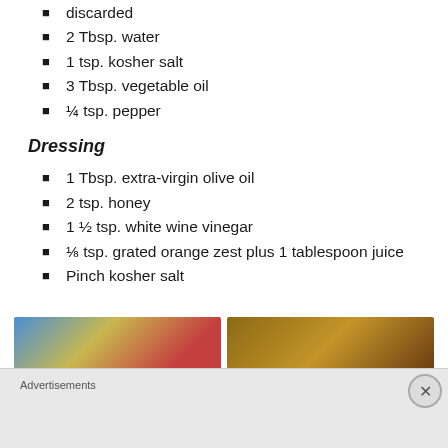discarded
2 Tbsp. water
1 tsp. kosher salt
3 Tbsp. vegetable oil
¼ tsp. pepper
Dressing
1 Tbsp. extra-virgin olive oil
2 tsp. honey
1 ½ tsp. white wine vinegar
⅛ tsp. grated orange zest plus 1 tablespoon juice
Pinch kosher salt
[Figure (photo): Two food photos side by side, partially visible at bottom of page]
Advertisements